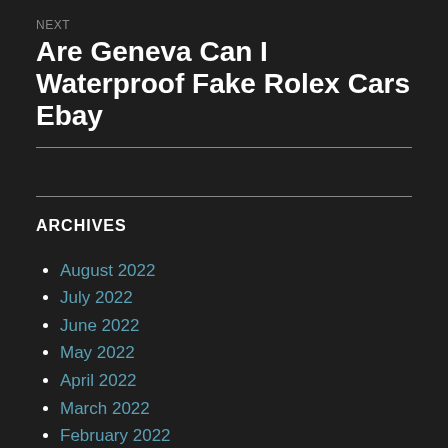NEXT
Are Geneva Can I Waterproof Fake Rolex Cars Ebay
ARCHIVES
August 2022
July 2022
June 2022
May 2022
April 2022
March 2022
February 2022